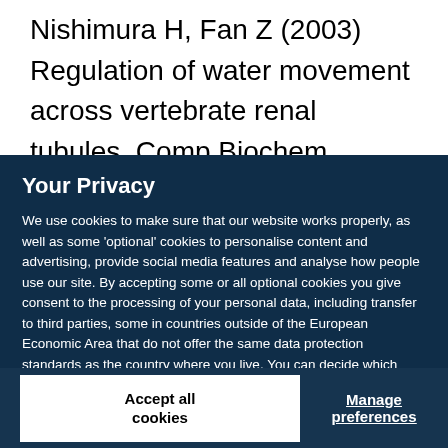Nishimura H, Fan Z (2003) Regulation of water movement across vertebrate renal tubules. Comp Biochem Physiol A Mol Integr Physiol 136(3):479
Your Privacy
We use cookies to make sure that our website works properly, as well as some 'optional' cookies to personalise content and advertising, provide social media features and analyse how people use our site. By accepting some or all optional cookies you give consent to the processing of your personal data, including transfer to third parties, some in countries outside of the European Economic Area that do not offer the same data protection standards as the country where you live. You can decide which optional cookies to accept by clicking on 'Manage Settings', where you can also find more information about how your personal data is processed. Further information can be found in our privacy policy.
Accept all cookies
Manage preferences